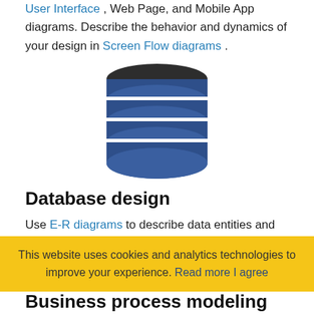User Interface , Web Page, and Mobile App diagrams. Describe the behavior and dynamics of your design in Screen Flow diagrams .
[Figure (illustration): Blue database cylinder icon with horizontal stripe layers and dark top]
Database design
Use E-R diagrams to describe data entities and the relationship between them. ERD tool helps you with the generation of creation and change scripts in SQL.
[Figure (illustration): Workflow diagram icons: filled circle, open square, filled square connected by lines and dots]
This website uses cookies and analytics technologies to improve your experience. Read more I agree
Business process modeling